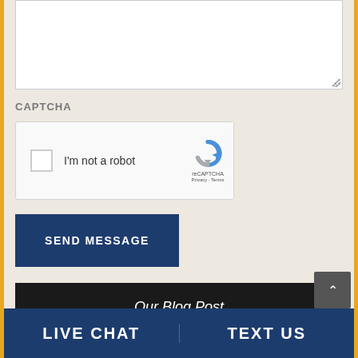[Figure (screenshot): Textarea input field (top portion visible, white background with resize handle)]
CAPTCHA
[Figure (screenshot): reCAPTCHA widget with checkbox labeled 'I'm not a robot' and reCAPTCHA logo with Privacy and Terms links]
[Figure (screenshot): SEND MESSAGE button, dark navy blue]
Our Blog Post
LIVE CHAT   TEXT US